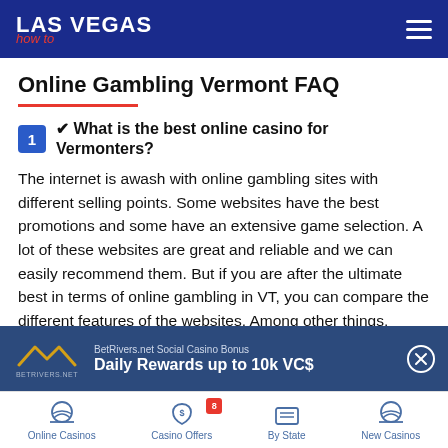LAS VEGAS How To
Online Gambling Vermont FAQ
1 ✔ What is the best online casino for Vermonters?
The internet is awash with online gambling sites with different selling points. Some websites have the best promotions and some have an extensive game selection. A lot of these websites are great and reliable and we can easily recommend them. But if you are after the ultimate best in terms of online gambling in VT, you can compare the different features of the websites. Among other things, check the guides and reviews at LasVegas-How-To.com.
[Figure (infographic): BetRivers.net Social Casino Bonus ad banner: Daily Rewards up to 10k VC$]
Online Casinos | Casino Offers (8) | By State | New Casinos